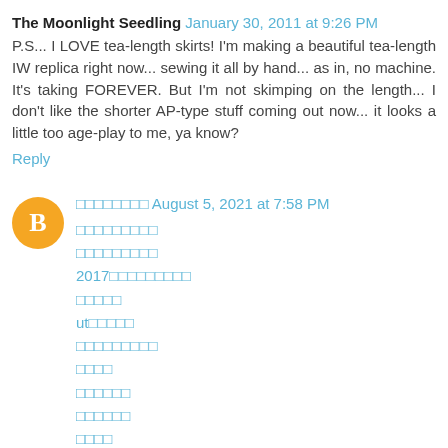The Moonlight Seedling  January 30, 2011 at 9:26 PM
P.S... I LOVE tea-length skirts! I'm making a beautiful tea-length IW replica right now... sewing it all by hand... as in, no machine. It's taking FOREVER. But I'm not skimping on the length... I don't like the shorter AP-type stuff coming out now... it looks a little too age-play to me, ya know?
Reply
August 5, 2021 at 7:58 PM
2017         
     
ut
Reply